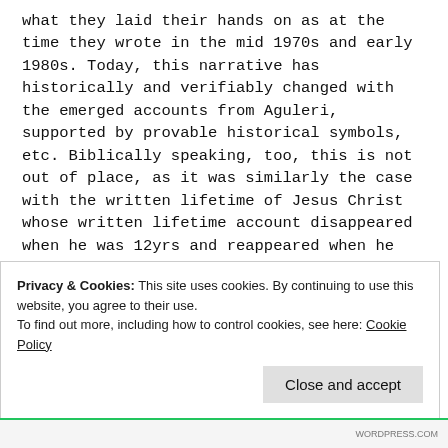what they laid their hands on as at the time they wrote in the mid 1970s and early 1980s. Today, this narrative has historically and verifiably changed with the emerged accounts from Aguleri, supported by provable historical symbols, etc. Biblically speaking, too, this is not out of place, as it was similarly the case with the written lifetime of Jesus Christ whose written lifetime account disappeared when he was 12yrs and reappeared when he was 30yrs (disappeared at 12yrs and reappeared at 29yrs), a loss of 17yrs.This has come to be known as “the unknown years of Jesus Christ”.
Privacy & Cookies: This site uses cookies. By continuing to use this website, you agree to their use.
To find out more, including how to control cookies, see here: Cookie Policy
Close and accept
WORDPRESS.COM